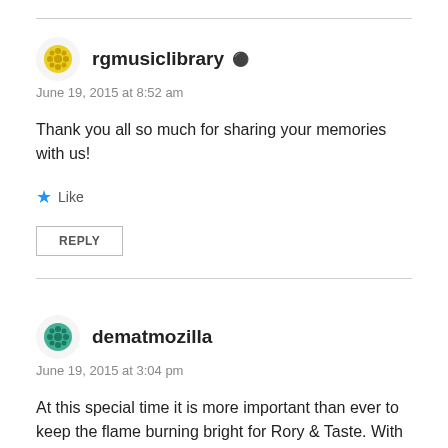rgmusiclibrary
June 19, 2015 at 8:52 am
Thank you all so much for sharing your memories with us!
Like
REPLY
dematmozilla
June 19, 2015 at 3:04 pm
At this special time it is more important than ever to keep the flame burning bright for Rory & Taste. With new CD & DVD releases imminent spread the word and share at every opportunity. Rory On! Ken.